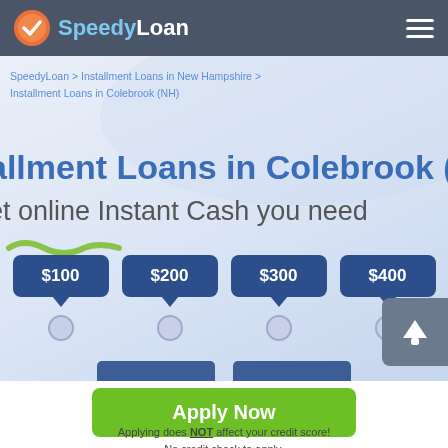SpeedyLoan
SpeedyLoan > Installment Loans in New Hampshire > Installment Loans in Colebrook (NH)
allment Loans in Colebrook (NH)
et online Instant Cash you need
[Figure (screenshot): Loan amount selector with speech bubble buttons for $100, $200, $300, $400 with radio buttons below]
Apply Now
Applying does NOT affect your credit score!
No credit check to apply.